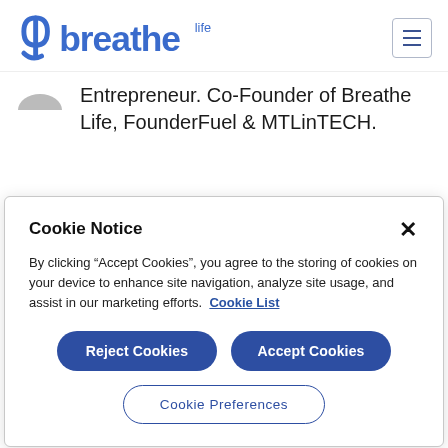Breathe Life
Entrepreneur. Co-Founder of Breathe Life, FounderFuel & MTLinTECH.
Cookie Notice
By clicking "Accept Cookies", you agree to the storing of cookies on your device to enhance site navigation, analyze site usage, and assist in our marketing efforts. Cookie List
Reject Cookies
Accept Cookies
Cookie Preferences